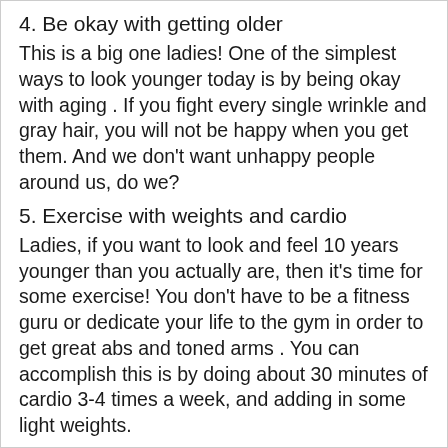4. Be okay with getting older
This is a big one ladies! One of the simplest ways to look younger today is by being okay with aging . If you fight every single wrinkle and gray hair, you will not be happy when you get them. And we don't want unhappy people around us, do we?
5. Exercise with weights and cardio
Ladies, if you want to look and feel 10 years younger than you actually are, then it's time for some exercise! You don't have to be a fitness guru or dedicate your life to the gym in order to get great abs and toned arms . You can accomplish this is by doing about 30 minutes of cardio 3-4 times a week, and adding in some light weights.
6. Don't be afraid to try something new with your hair
Have you always dreamed of being a blonde? Then go do it! Too many women are scared to try out different haircuts or colors because they are scared it will make them look older. The opposite is actually true! If you are looking for something